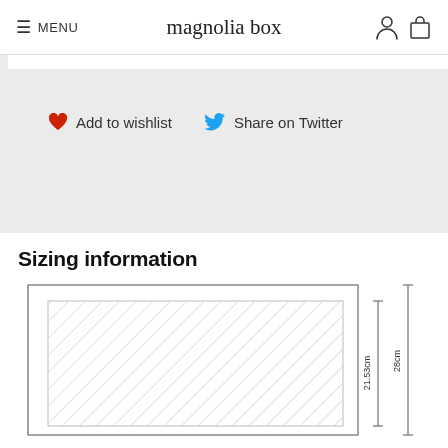≡ MENU  magnolia box
Add to wishlist   Share on Twitter
Sizing information
[Figure (schematic): Sizing diagram showing a framed print with hatched image area inside. Dimensions indicated on the right: 28cm total height, 21.53cm image height.]